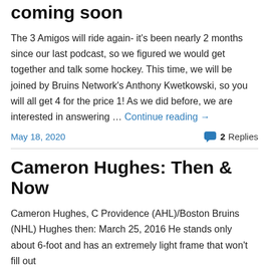3 Amigos – BNI Podcast coming soon
The 3 Amigos will ride again- it's been nearly 2 months since our last podcast, so we figured we would get together and talk some hockey. This time, we will be joined by Bruins Network's Anthony Kwetkowski, so you will all get 4 for the price 1! As we did before, we are interested in answering … Continue reading →
May 18, 2020
2 Replies
Cameron Hughes: Then & Now
Cameron Hughes, C Providence (AHL)/Boston Bruins (NHL) Hughes then: March 25, 2016 He stands only about 6-foot and has an extremely light frame that won't fill out